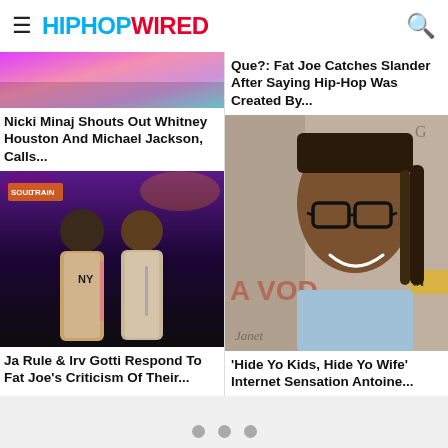HIPHOPWIRED
[Figure (photo): Top left article thumbnail - colorful background]
Nicki Minaj Shouts Out Whitney Houston And Michael Jackson, Calls...
[Figure (photo): Top right article thumbnail - gray background]
Que?: Fat Joe Catches Slander After Saying Hip-Hop Was Created By...
[Figure (photo): Photo of Ja Rule and Irv Gotti standing together at Soul Train event]
Ja Rule & Irv Gotti Respond To Fat Joe’s Criticism Of Their...
[Figure (photo): Photo of Antoine Dodson (Hide Yo Kids internet sensation) smiling with glasses]
‘Hide Yo Kids, Hide Yo Wife’ Internet Sensation Antoine...